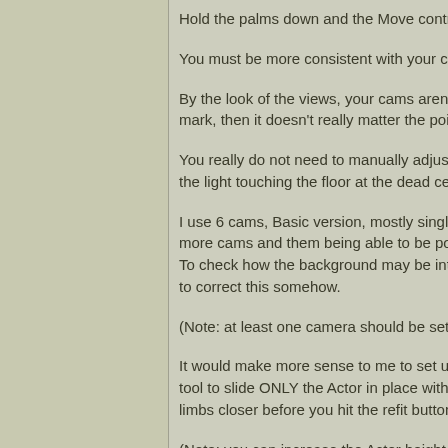Hold the palms down and the Move controllers
You must be more consistent with your color ch
By the look of the views, your cams aren't cent mark, then it doesn't really matter the point you
You really do not need to manually adjust the c the light touching the floor at the dead center fl
I use 6 cams, Basic version, mostly single perf more cams and them being able to be positione To check how the background may be interferir to correct this somehow.
(Note: at least one camera should be set at bet
It would make more sense to me to set up the tool to slide ONLY the Actor in place with you, limbs closer before you hit the refit button and l
(Note: you can increase the Actor height to bett
It will take you a little while to get everything ru